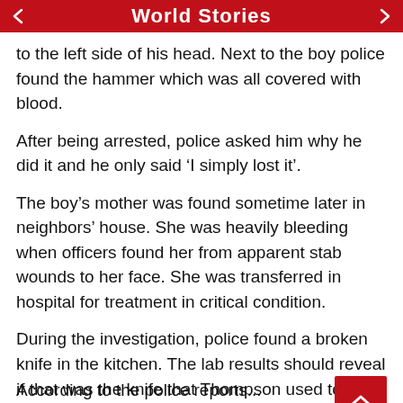World Stories
to the left side of his head. Next to the boy police found the hammer which was all covered with blood.
After being arrested, police asked him why he did it and he only said ‘I simply lost it’.
The boy’s mother was found sometime later in neighbors’ house. She was heavily bleeding when officers found her from apparent stab wounds to her face. She was transferred in hospital for treatment in critical condition.
During the investigation, police found a broken knife in the kitchen. The lab results should reveal if that was the knife that Thompson used to hur girlfriend.
According to the police reports...